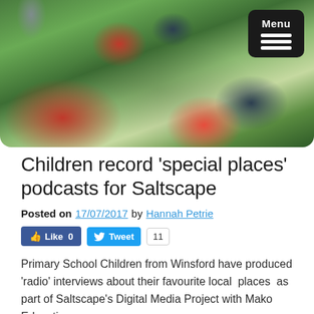[Figure (photo): Children in red t-shirts sitting on grass outdoors, viewed from behind, with a menu button overlay in top-right corner]
Children record ‘special places’ podcasts for Saltscape
Posted on 17/07/2017 by Hannah Petrie
Primary School Children from Winsford have produced ‘radio’ interviews about their favourite local places as part of Saltscape’s Digital Media Project with Mako Education